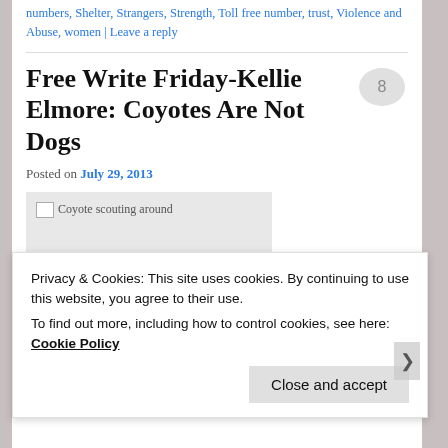numbers, Shelter, Strangers, Strength, Toll free number, trust, Violence and Abuse, women | Leave a reply
Free Write Friday-Kellie Elmore: Coyotes Are Not Dogs
Posted on July 29, 2013
[Figure (photo): Coyote scouting around - broken image placeholder]
Privacy & Cookies: This site uses cookies. By continuing to use this website, you agree to their use.
To find out more, including how to control cookies, see here: Cookie Policy
Close and accept